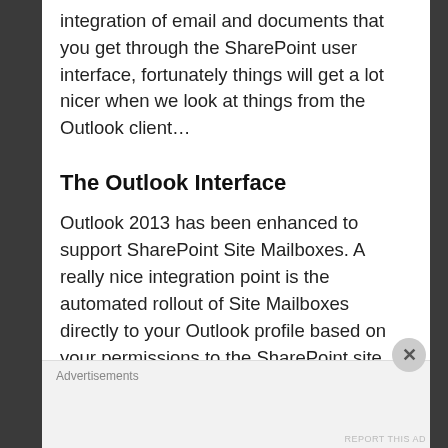integration of email and documents that you get through the SharePoint user interface, fortunately things will get a lot nicer when we look at things from the Outlook client...
The Outlook Interface
Outlook 2013 has been enhanced to support SharePoint Site Mailboxes. A really nice integration point is the automated rollout of Site Mailboxes directly to your Outlook profile based on your permissions to the SharePoint site. What this means is that if you are an owner or member of a SharePoint site and a Site Mailbox
Advertisements